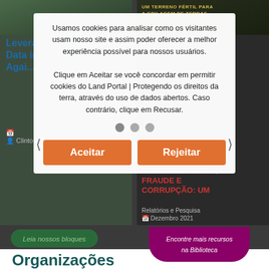[Figure (screenshot): Website screenshot showing two article cards side by side on a dark background. Left card has title 'Leveraging Open Data in the Fight Agai...' by Clinton Omusula. Right card shows a Portuguese title about GOVERNANÇA FUNDIÁRIA FRÁGIL, FRAUDE E CORRUPÇÃO: UM, with category Relatórios e Pesquisa, Dezembro 2021. Navigation dots and carousel arrows visible. Buttons 'Leia nossos bloques' and 'Encontre mais recursos na Biblioteca' also visible.]
Usamos cookies para analisar como os visitantes usam nosso site e assim poder oferecer a melhor experiência possível para nossos usuários.
Clique em Aceitar se você concordar em permitir cookies do Land Portal | Protegendo os direitos da terra, através do uso de dados abertos. Caso contrário, clique em Recusar.
Aceitar
Rejeitar
Organizações